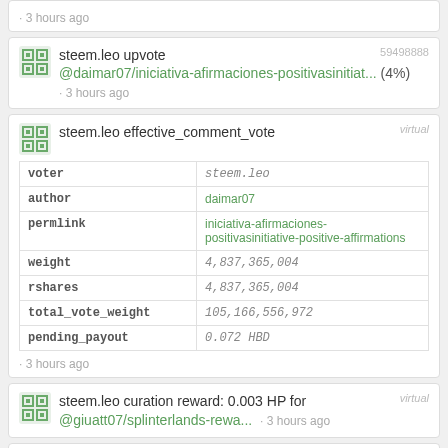· 3 hours ago (partial top card)
steem.leo upvote @daimar07/iniciativa-afirmaciones-positivasinitiat... (4%) · 3 hours ago [59498888]
| field | value |
| --- | --- |
| voter | steem.leo |
| author | daimar07 |
| permlink | iniciativa-afirmaciones-positivasinitiative-positive-affirmations |
| weight | 4,837,365,004 |
| rshares | 4,837,365,004 |
| total_vote_weight | 105,166,556,972 |
| pending_payout | 0.072 HBD |
steem.leo effective_comment_vote · 3 hours ago [virtual]
steem.leo curation reward: 0.003 HP for @giuatt07/splinterlands-rewa... · 3 hours ago [virtual]
steem.leo upvote @mariale07/healthy-and-fresh-watermelon (11%) · 3 hours ago [2fd6b966]
steem.leo effective_comment_vote [virtual] (partial bottom)